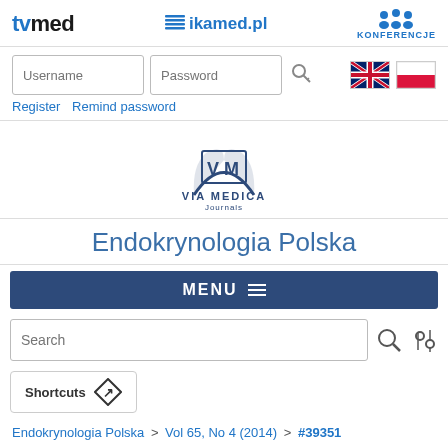[Figure (screenshot): Website header with tvmed, ikamed.pl, and KONFERENCJE logos]
[Figure (screenshot): Login bar with Username and Password fields, key icon, UK and Polish flag icons]
Register   Remind password
[Figure (logo): VIA MEDICA Journals logo with open book and V M letters]
Endokrynologia Polska
MENU
Search
Shortcuts
Endokrynologia Polska > Vol 65, No 4 (2014) > #39351